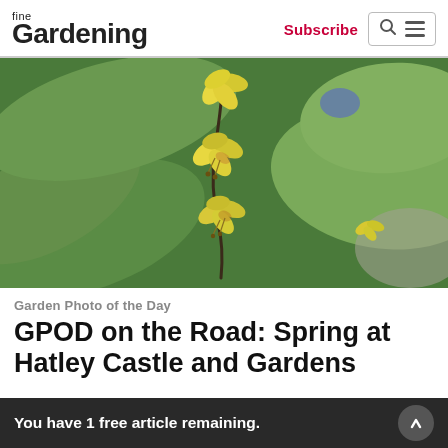fine Gardening | Subscribe
[Figure (photo): Close-up photo of yellow drooping lily-like flowers (Erythronium) with green leaves in background, spring garden setting]
Garden Photo of the Day
GPOD on the Road: Spring at Hatley Castle and Gardens
You have 1 free article remaining.